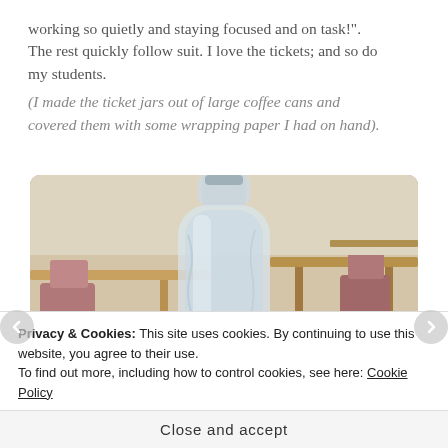working so quietly and staying focused and on task!". The rest quickly follow suit. I love the tickets; and so do my students.
(I made the ticket jars out of large coffee cans and covered them with some wrapping paper I had on hand).
[Figure (photo): Classroom photo showing a plastic water bottle in the foreground on a desk, with classroom tables, chairs, and an Epson projector visible in the background.]
Privacy & Cookies: This site uses cookies. By continuing to use this website, you agree to their use.
To find out more, including how to control cookies, see here: Cookie Policy
Close and accept